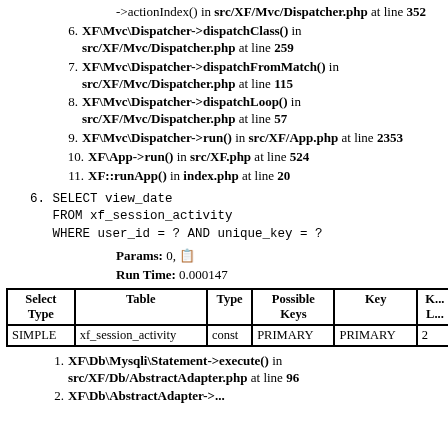->actionIndex() in src/XF/Mvc/Dispatcher.php at line 352
6. XF\Mvc\Dispatcher->dispatchClass() in src/XF/Mvc/Dispatcher.php at line 259
7. XF\Mvc\Dispatcher->dispatchFromMatch() in src/XF/Mvc/Dispatcher.php at line 115
8. XF\Mvc\Dispatcher->dispatchLoop() in src/XF/Mvc/Dispatcher.php at line 57
9. XF\Mvc\Dispatcher->run() in src/XF/App.php at line 2353
10. XF\App->run() in src/XF.php at line 524
11. XF::runApp() in index.php at line 20
6. SELECT view_date
   FROM xf_session_activity
   WHERE user_id = ? AND unique_key = ?
Params: 0, []
Run Time: 0.000147
| Select Type | Table | Type | Possible Keys | Key | K... |
| --- | --- | --- | --- | --- | --- |
| SIMPLE | xf_session_activity | const | PRIMARY | PRIMARY | 2 |
1. XF\Db\Mysqli\Statement->execute() in src/XF/Db/AbstractAdapter.php at line 96
2. XF\Db\AbstractAdapter->...